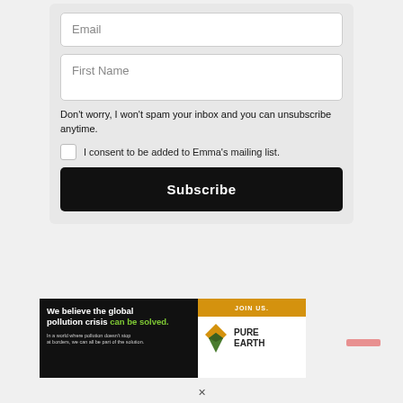Email
First Name
Don't worry, I won't spam your inbox and you can unsubscribe anytime.
I consent to be added to Emma's mailing list.
Subscribe
[Figure (infographic): Pure Earth advertisement banner. Left black section: 'We believe the global pollution crisis can be solved.' in white/green bold text, with subtext 'In a world where pollution doesn't stop at borders, we can all be part of the solution.' Right white section with orange 'JOIN US.' bar at top, and Pure Earth logo (diamond icon) with PURE EARTH text.]